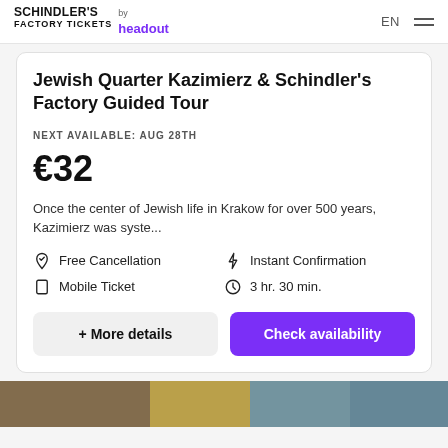SCHINDLER'S FACTORY TICKETS by headout EN
Jewish Quarter Kazimierz & Schindler's Factory Guided Tour
NEXT AVAILABLE: AUG 28TH
€32
Once the center of Jewish life in Krakow for over 500 years, Kazimierz was syste...
Free Cancellation
Instant Confirmation
Mobile Ticket
3 hr. 30 min.
+ More details
Check availability
[Figure (photo): Partial view of a building/attraction photo at bottom of page]